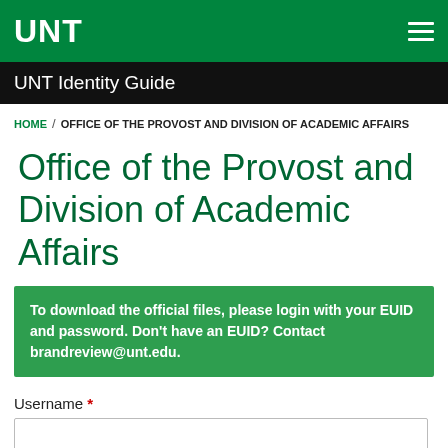UNT
UNT Identity Guide
HOME / OFFICE OF THE PROVOST AND DIVISION OF ACADEMIC AFFAIRS
Office of the Provost and Division of Academic Affairs
To download the official files, please login with your EUID and password. Don't have an EUID? Contact brandreview@unt.edu.
Username *